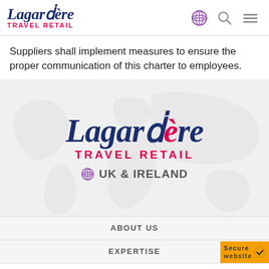[Figure (logo): Lagardère Travel Retail logo in small header navigation bar with globe icon, search icon, and hamburger menu icon]
Suppliers shall implement measures to ensure the proper communication of this charter to employees.
[Figure (illustration): Lagardère Travel Retail UK & Ireland logo centered over a light grey world map watermark background]
ABOUT US
EXPERTISE